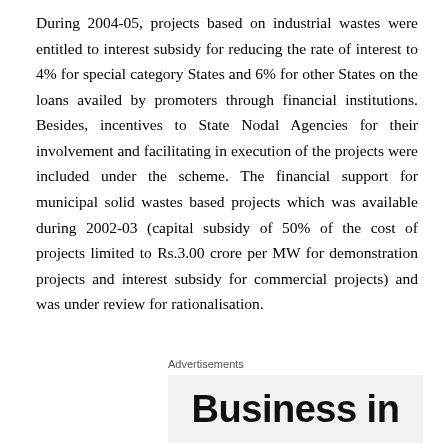During 2004-05, projects based on industrial wastes were entitled to interest subsidy for reducing the rate of interest to 4% for special category States and 6% for other States on the loans availed by promoters through financial institutions. Besides, incentives to State Nodal Agencies for their involvement and facilitating in execution of the projects were included under the scheme. The financial support for municipal solid wastes based projects which was available during 2002-03 (capital subsidy of 50% of the cost of projects limited to Rs.3.00 crore per MW for demonstration projects and interest subsidy for commercial projects) and was under review for rationalisation.
Advertisements
[Figure (other): Advertisement box showing partial text 'Business in' in large bold sans-serif font on a light grey background]